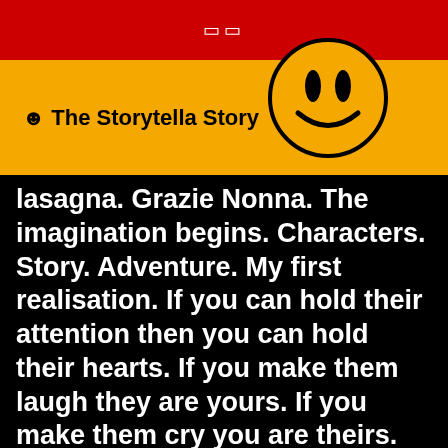⬛⬛
☺ The Storytella Story
[Figure (illustration): Black and yellow smiley face with two vertical oval eyes and a curved smile, drawn in thick black outline on yellow background]
lasagna. Grazie Nonna. The imagination begins. Characters. Story. Adventure. My first realisation. If you can hold their attention then you can hold their hearts. If you make them laugh they are yours. If you make them cry you are theirs. Mr. Bean shows me how simple it is. Disney, how colourful it is. Seinfeld, how ridiculous. Life. The great big show about nothing. My